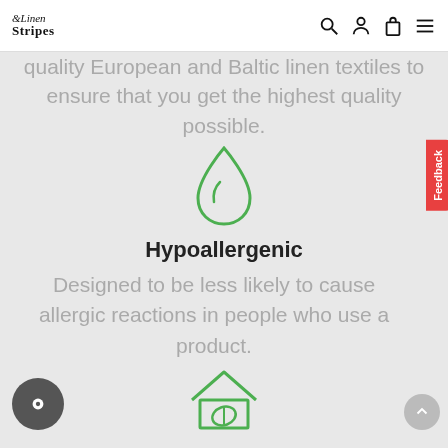Linen Stripes
quality European and Baltic linen textiles to ensure that you get the highest quality possible.
[Figure (illustration): Green outlined water drop icon]
Hypoallergenic
Designed to be less likely to cause allergic reactions in people who use a product.
[Figure (illustration): Green outlined house with leaf icon]